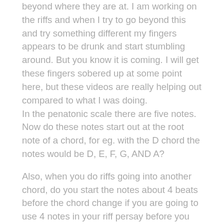beyond where they are at. I am working on the riffs and when I try to go beyond this and try something different my fingers appears to be drunk and start stumbling around. But you know it is coming. I will get these fingers sobered up at some point here, but these videos are really helping out compared to what I was doing. In the penatonic scale there are five notes. Now do these notes start out at the root note of a chord, for eg. with the D chord the notes would be D, E, F, G, AND A?
Also, when you do riffs going into another chord, do you start the notes about 4 beats before the chord change if you are going to use 4 notes in your riff persay before you